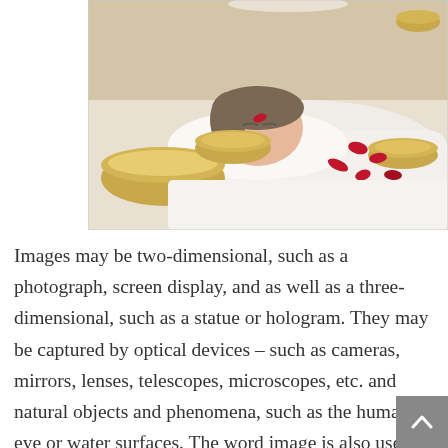[Figure (photo): A woman lying on a spa treatment table wrapped in white towels, with red rose petals scattered around her and several golden singing bowls placed near her head and shoulders. A spa/wellness treatment scene.]
Images may be two-dimensional, such as a photograph, screen display, and as well as a three-dimensional, such as a statue or hologram. They may be captured by optical devices – such as cameras, mirrors, lenses, telescopes, microscopes, etc. and natural objects and phenomena, such as the human eye or water surfaces. The word image is also used in the broader sense of any two-dimensional figure such as a map, a graph, a pie chart, or an abstract painting. The word image is also